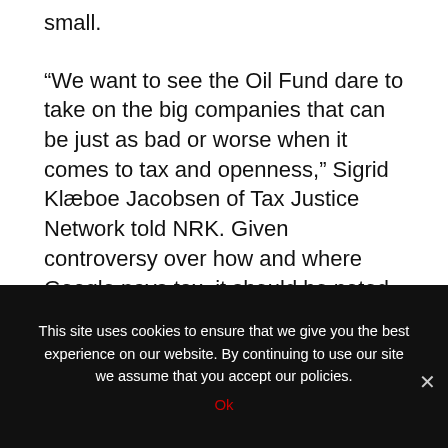small.
“We want to see the Oil Fund dare to take on the big companies that can be just as bad or worse when it comes to tax and openness,” Sigrid Klæboe Jacobsen of Tax Justice Network told NRK. Given controversy over how and where Google pays tax, it should be noted that the Oil Fund’s fourth-largest single stake is still in Alphabet Inc, Google’s parent company.
NewsInEnglish.no/Nina Berglund
This site uses cookies to ensure that we give you the best experience on our website. By continuing to use our site we assume that you accept our policies.
Ok